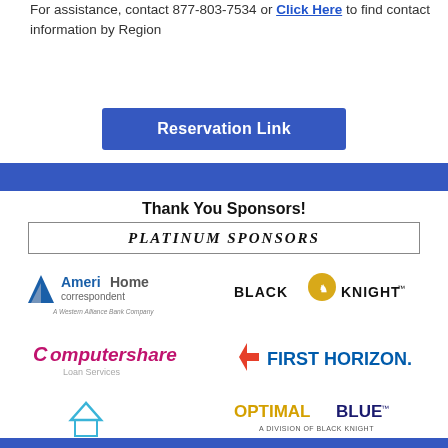For assistance, contact 877-803-7534 or Click Here to find contact information by Region
Reservation Link
Thank You Sponsors!
PLATINUM SPONSORS
[Figure (logo): AmeriHome Correspondent - A Western Alliance Bank Company logo]
[Figure (logo): Black Knight logo]
[Figure (logo): Computershare Loan Services logo]
[Figure (logo): First Horizon logo]
[Figure (logo): Optimal Blue - A Division of Black Knight logo]
[Figure (logo): HomeBridge Financial Services logo]
[Figure (logo): PHH Mortgage logo]